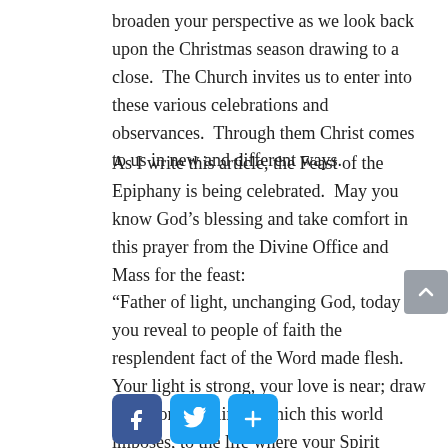broaden your perspective as we look back upon the Christmas season drawing to a close.  The Church invites us to enter into these various celebrations and observances.  Through them Christ comes to us in new and different ways.
As I write this article, the Feast of the Epiphany is being celebrated.  May you know God's blessing and take comfort in this prayer from the Divine Office and Mass for the feast:
“Father of light, unchanging God, today you reveal to people of faith the resplendent fact of the Word made flesh. Your light is strong, your love is near; draw us beyond the limits which this world imposes, to the life where your Spirit makes all life complete.  We ask this through Christ Our Lord.”
[Figure (other): Social sharing icons: Facebook (blue f), Twitter (blue bird), and a blue share/plus button]